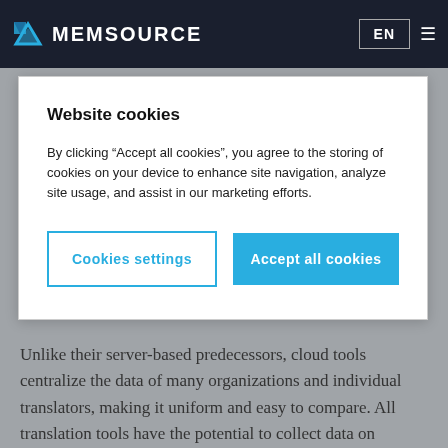MEMSOURCE
Website cookies
By clicking “Accept all cookies”, you agree to the storing of cookies on your device to enhance site navigation, analyze site usage, and assist in our marketing efforts.
Unlike their server-based predecessors, cloud tools centralize the data of many organizations and individual translators, making it uniform and easy to compare. All translation tools have the potential to collect data on productivity, number of words translated, project managed, and costs. The disadvantage of desktop and server-based tools is that they have to be downloaded/installed onto a company’s own hardware. These servers and workstations are not connected to any external companies, and so all their data is